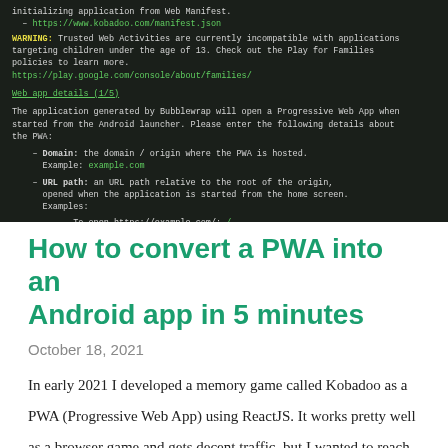[Figure (screenshot): Terminal/command-line screenshot showing Bubblewrap CLI output. Shows initialization from web manifest, a WARNING about Trusted Web Activities being incompatible with apps targeting children under 13, a link to Google Play families policies, a 'Web app details (1/5)' section header, description of PWA domain and URL path fields with examples, and prompts showing Domain: www.kobadoo.com and URL path: /]
How to convert a PWA into an Android app in 5 minutes
October 18, 2021
In early 2021 I developed a memory game called Kobadoo as a PWA (Progressive Web App) using ReactJS. It works pretty well as a browser game and gets decent traffic, but I wanted to reach more potential users by making it avail…